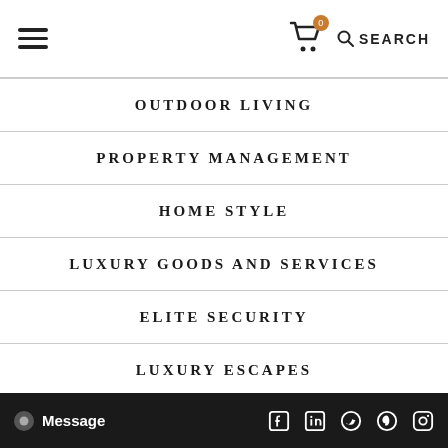Navigation header with hamburger menu, cart icon with badge 0, and SEARCH
OUTDOOR LIVING
PROPERTY MANAGEMENT
HOME STYLE
LUXURY GOODS AND SERVICES
ELITE SECURITY
LUXURY ESCAPES
PRESTIGE VENUES
SCULPTORS AND ARTISTS
Message | social icons: Facebook, LinkedIn, Twitter, Pinterest, Instagram